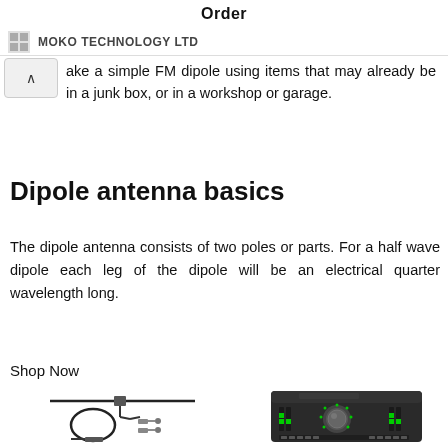Order
MOKO TECHNOLOGY LTD
ake a simple FM dipole using items that may already be in a junk box, or in a workshop or garage.
Dipole antenna basics
The dipole antenna consists of two poles or parts. For a half wave dipole each leg of the dipole will be an electrical quarter wavelength long.
Shop Now
[Figure (illustration): FM dipole antenna with coaxial cable and connectors]
[Figure (photo): Universal Audio Apollo Twin X audio interface]